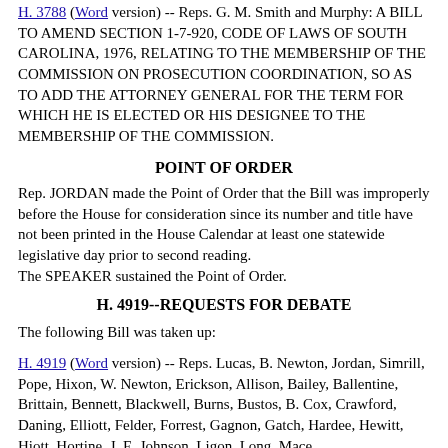H. 3788 (Word version) -- Reps. G. M. Smith and Murphy: A BILL TO AMEND SECTION 1-7-920, CODE OF LAWS OF SOUTH CAROLINA, 1976, RELATING TO THE MEMBERSHIP OF THE COMMISSION ON PROSECUTION COORDINATION, SO AS TO ADD THE ATTORNEY GENERAL FOR THE TERM FOR WHICH HE IS ELECTED OR HIS DESIGNEE TO THE MEMBERSHIP OF THE COMMISSION.
POINT OF ORDER
Rep. JORDAN made the Point of Order that the Bill was improperly before the House for consideration since its number and title have not been printed in the House Calendar at least one statewide legislative day prior to second reading. The SPEAKER sustained the Point of Order.
H. 4919--REQUESTS FOR DEBATE
The following Bill was taken up:
H. 4919 (Word version) -- Reps. Lucas, B. Newton, Jordan, Simrill, Pope, Hixon, W. Newton, Erickson, Allison, Bailey, Ballentine, Brittain, Bennett, Blackwell, Burns, Bustos, B. Cox, Crawford, Daning, Elliott, Felder, Forrest, Gagnon, Gatch, Hardee, Hewitt, Hiott, Hortine, J. E. Johnson, Ligon, Long, Mace...